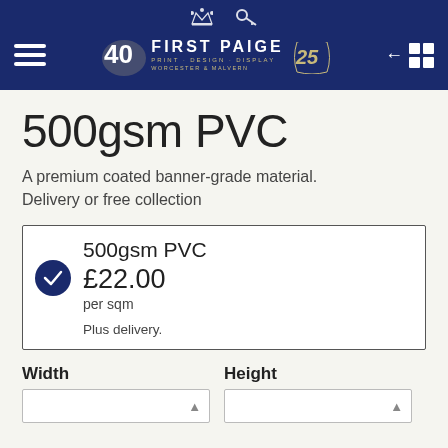First Paige – Print · Design · Display – Worcester & Malvern – 40th / 25th anniversary
500gsm PVC
A premium coated banner-grade material. Delivery or free collection
| Product | Price | Unit | Note |
| --- | --- | --- | --- |
| 500gsm PVC | £22.00 | per sqm | Plus delivery. |
Width
Height